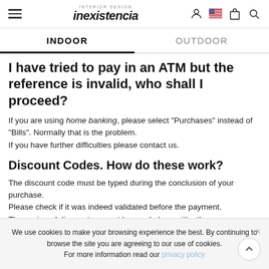INTERIOR DESIGN inexistencia
INDOOR | OUTDOOR
I have tried to pay in an ATM but the reference is invalid, who shall I proceed?
If you are using home banking, please select "Purchases" instead of "Bills". Normally that is the problem.
If you have further difficulties please contact us.
Discount Codes. How do these work?
The discount code must be typed during the conclusion of your purchase.
Please check if it was indeed validated before the payment.
The assigned discounts cannot be used along with other
We use cookies to make your browsing experience the best. By continuing to browse the site you are agreeing to our use of cookies. For more information read our privacy policy
If in the next...